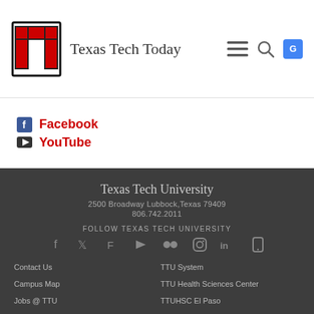[Figure (logo): Texas Tech University double-T logo in red and black]
Texas Tech Today
[Figure (other): Navigation icons: hamburger menu, search, Google Translate]
Facebook
YouTube
Texas Tech University
2500 Broadway Lubbock, Texas 79409
806.742.2011
FOLLOW TEXAS TECH UNIVERSITY
[Figure (other): Social media icons row: Facebook, Twitter, Foursquare, YouTube, Flickr, Instagram, LinkedIn, Mobile]
Contact Us
TTU System
Campus Map
TTU Health Sciences Center
Jobs @ TTU
TTUHSC El Paso
Emergency Communication Center
Angelo State University
General Policy Information
Midwestern State University